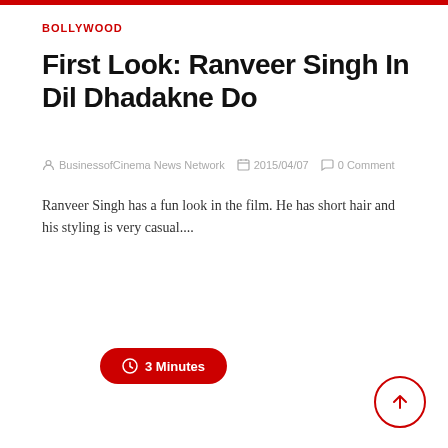BOLLYWOOD
First Look: Ranveer Singh In Dil Dhadakne Do
BusinessofCinema News Network   2015/04/07   0 Comment
Ranveer Singh has a fun look in the film. He has short hair and his styling is very casual....
Read More
3 Minutes